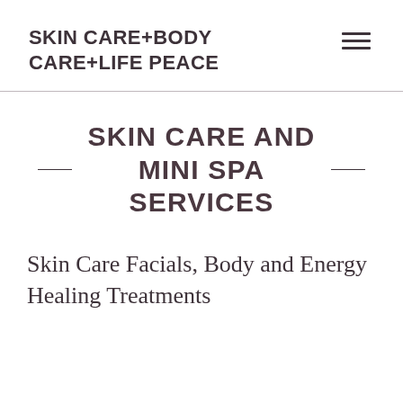SKIN CARE+BODY CARE+LIFE PEACE
SKIN CARE AND MINI SPA SERVICES
Skin Care Facials, Body and Energy Healing Treatments